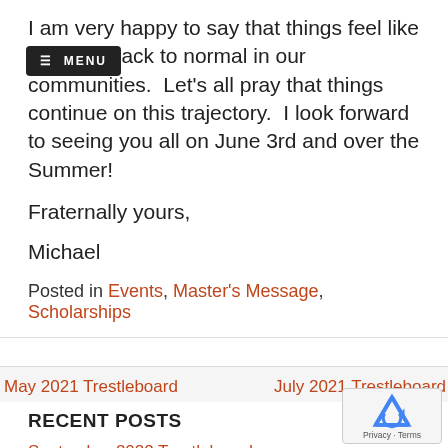I am very happy to say that things feel like they are back to normal in our communities.  Let's all pray that things continue on this trajectory.  I look forward to seeing you all on June 3rd and over the Summer!
Fraternally yours,
Michael
Posted in Events, Master's Message, Scholarships
May 2021 Trestleboard
July 2021 Trestleboard
RECENT POSTS
September 2022 Trestleboard